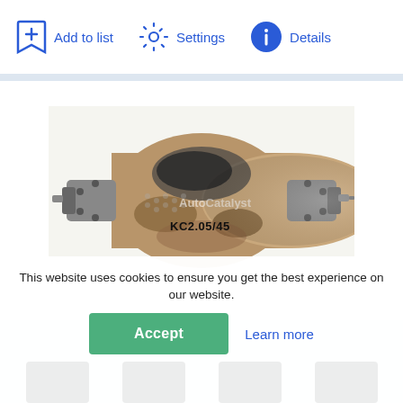Add to list
Settings
Details
[Figure (photo): A used catalytic converter with burnt/oxidized surface showing part number KC2.05/45 written in black marker. The converter is cylindrical with metal flanges on both sides. AutoCatalyst watermark visible.]
This website uses cookies to ensure you get the best experience on our website.
Accept
Learn more